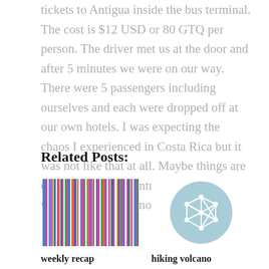tickets to Antigua inside the bus terminal. The cost is $12 USD or 80 GTQ per person. The driver met us at the door and after 5 minutes we were on our way. There were 5 passengers including ourselves and each were dropped off at our own hotels. I was expecting the chaos I experienced in Costa Rica but it was not like that at all. Maybe things are different now in Central America...we will find out soon enough.
Related Posts:
[Figure (photo): Colorful striped textile fabric in pink, blue, green and other colors — a Guatemalan or Central American woven fabric]
weekly recap
[Figure (illustration): A light blue circular icon with a white geometric network/mesh shape (polyhedron wireframe) in the center]
hiking volcano